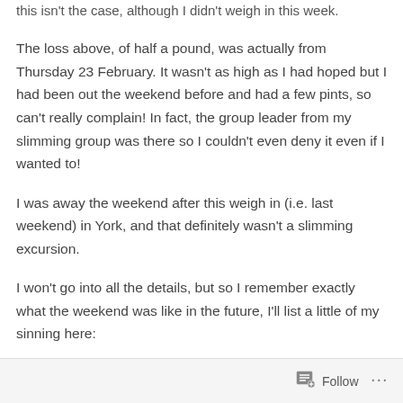this isn't the case, although I didn't weigh in this week.
The loss above, of half a pound, was actually from Thursday 23 February. It wasn't as high as I had hoped but I had been out the weekend before and had a few pints, so can't really complain! In fact, the group leader from my slimming group was there so I couldn't even deny it even if I wanted to!
I was away the weekend after this weigh in (i.e. last weekend) in York, and that definitely wasn't a slimming excursion.
I won't go into all the details, but so I remember exactly what the weekend was like in the future, I'll list a little of my sinning here:
Follow ···